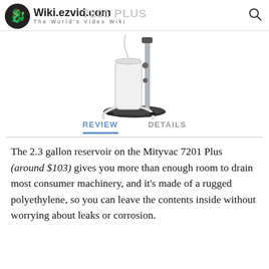Wiki.ezvid.com The World's Video Wiki
[Figure (photo): Product photo of Mityvac 7201 Plus fluid evacuator pump with white cylindrical reservoir, metal pump handle, hose, and black base]
REVIEW   DETAILS
The 2.3 gallon reservoir on the Mityvac 7201 Plus (around $103) gives you more than enough room to drain most consumer machinery, and it's made of a rugged polyethylene, so you can leave the contents inside without worrying about leaks or corrosion.